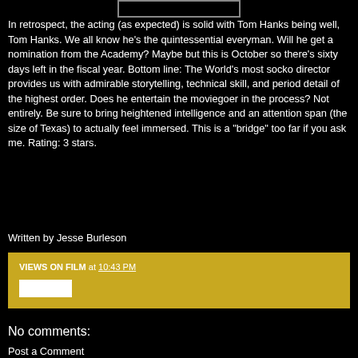[Figure (other): Partial top image with a rectangular box outline visible at top of page]
In retrospect, the acting (as expected) is solid with Tom Hanks being well, Tom Hanks. We all know he's the quintessential everyman. Will he get a nomination from the Academy? Maybe but this is October so there's sixty days left in the fiscal year. Bottom line: The World's most socko director provides us with admirable storytelling, technical skill, and period detail of the highest order. Does he entertain the moviegoer in the process? Not entirely. Be sure to bring heightened intelligence and an attention span (the size of Texas) to actually feel immersed. This is a "bridge" too far if you ask me. Rating: 3 stars.
Written by Jesse Burleson
VIEWS ON FILM at 10:43 PM
No comments:
Post a Comment